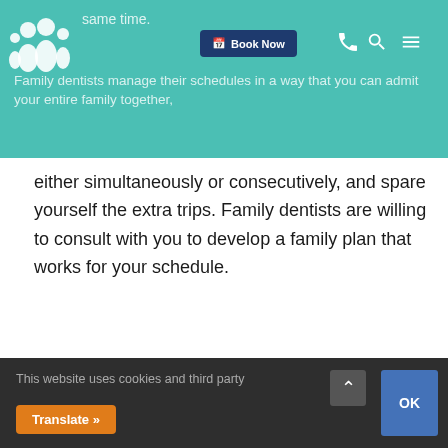[Figure (screenshot): Website navigation bar with teal background, family dentist logo (silhouettes of family), Book Now button in dark blue, phone icon, search icon, and hamburger menu icon. Overlay text reads 'same time. Family dentists manage their schedules in a way that you can admit your entire family together,']
either simultaneously or consecutively, and spare yourself the extra trips. Family dentists are willing to consult with you to develop a family plan that works for your schedule.
A FAMILY DENTIST UNDERSTANDS THE UNIQUE CHALLENGES OF TREATING
This website uses cookies and third party
Translate »
OK